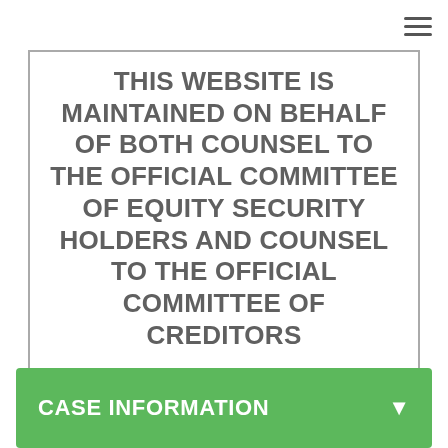≡
THIS WEBSITE IS MAINTAINED ON BEHALF OF BOTH COUNSEL TO THE OFFICIAL COMMITTEE OF EQUITY SECURITY HOLDERS AND COUNSEL TO THE OFFICIAL COMMITTEE OF CREDITORS
CASE INFORMATION